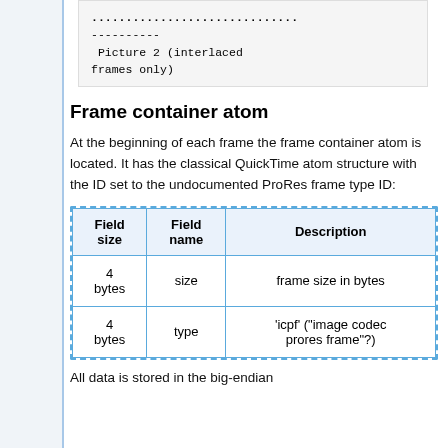..............................
----------
 Picture 2 (interlaced frames only)
Frame container atom
At the beginning of each frame the frame container atom is located. It has the classical QuickTime atom structure with the ID set to the undocumented ProRes frame type ID:
| Field size | Field name | Description |
| --- | --- | --- |
| 4 bytes | size | frame size in bytes |
| 4 bytes | type | 'icpf' ("image codec prores frame"?) |
All data is stored in the big-endian